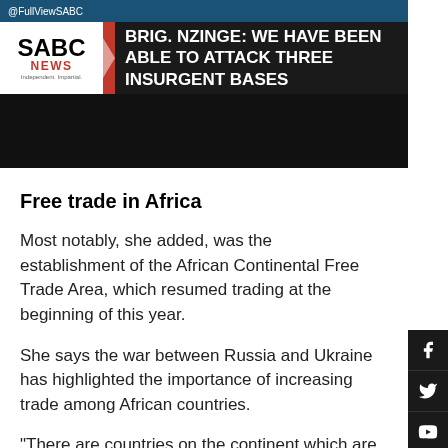[Figure (screenshot): SABC News broadcast screenshot showing ticker '@FullViewSABC' and headline 'BRIG. NZINGE: WE HAVE BEEN ABLE TO ATTACK THREE INSURGENT BASES']
Free trade in Africa
Most notably, she added, was the establishment of the African Continental Free Trade Area, which resumed trading at the beginning of this year.
She says the war between Russia and Ukraine has highlighted the importance of increasing trade among African countries.
"There are countries on the continent which are depende on both Russia and Ukraine for wheat, and agricultural input such seed fertilisers, and the supply has been disrupted. South Africa imports crude oil, diesel and related chemicals from Russia and Ukraine, and now it...